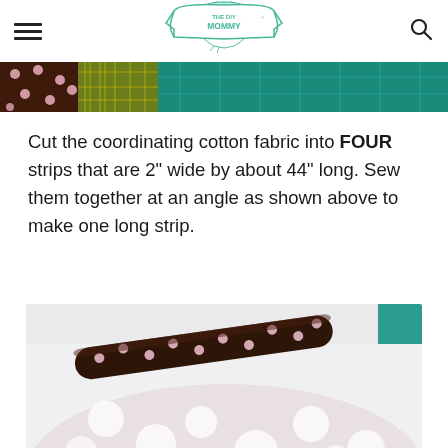THE DIY MOMMY
[Figure (photo): Partial top view of fabric strips sewn together at angles showing polka dot and patterned cotton fabrics in brown, green, and teal colors]
Cut the coordinating cotton fabric into FOUR strips that are 2" wide by about 44" long. Sew them together at an angle as shown above to make one long strip.
[Figure (photo): Close-up photo of rolled dark brown polka dot fabric strip and large light pink/white polka dot fabric, against a light grey background with teal corner element]